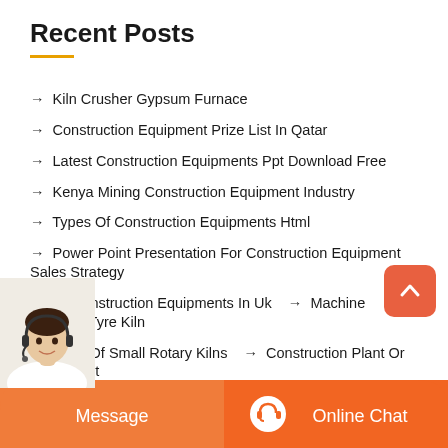Recent Posts
→ Kiln Crusher Gypsum Furnace
→ Construction Equipment Prize List In Qatar
→ Latest Construction Equipments Ppt Download Free
→ Kenya Mining Construction Equipment Industry
→ Types Of Construction Equipments Html
→ Power Point Presentation For Construction Equipment Sales Strategy
→ Of Construction Equipments In Uk   → Machine Grinding Tyre Kiln
→ Price Of Small Rotary Kilns   → Construction Plant Or Equipment
→ 5 Types Of Cement Commonly Used In Construction Industry In
[Figure (infographic): Orange footer bar with Message button and Online Chat button with headset icon, and customer service agent image at lower left]
Message
Online Chat